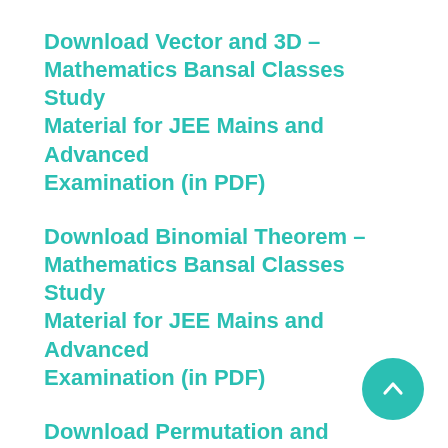Download Vector and 3D – Mathematics Bansal Classes Study Material for JEE Mains and Advanced Examination (in PDF)
Download Binomial Theorem – Mathematics Bansal Classes Study Material for JEE Mains and Advanced Examination (in PDF)
Download Permutation and Combination – Mathematics Bansal Classes Study Material for JEE Mains and Advanced Examination (in PDF)